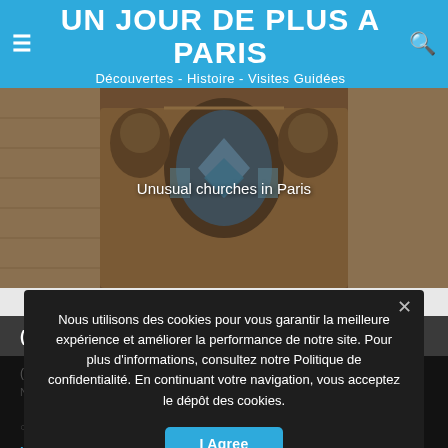UN JOUR DE PLUS A PARIS – Découvertes - Histoire - Visites Guidées
[Figure (photo): Architectural detail of an ornate church facade with decorative stonework and arched doorway with geometric patterns]
Unusual churches in Paris
(Français) Nous contacter
Nous utilisons des cookies pour vous garantir la meilleure expérience et améliorer la performance de notre site. Pour plus d'informations, consultez notre Politique de confidentialité. En continuant votre navigation, vous acceptez le dépôt des cookies.
I Agree
Language:
Français